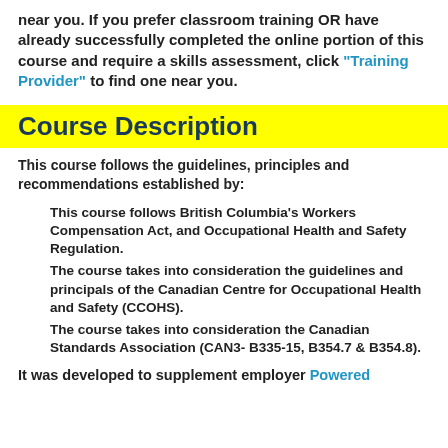near you. If you prefer classroom training OR have already successfully completed the online portion of this course and require a skills assessment, click "Training Provider" to find one near you.
Course Description
This course follows the guidelines, principles and recommendations established by:
This course follows British Columbia's Workers Compensation Act, and Occupational Health and Safety Regulation.
The course takes into consideration the guidelines and principals of the Canadian Centre for Occupational Health and Safety (CCOHS).
The course takes into consideration the Canadian Standards Association (CAN3- B335-15, B354.7 & B354.8).
It was developed to supplement employer Powered